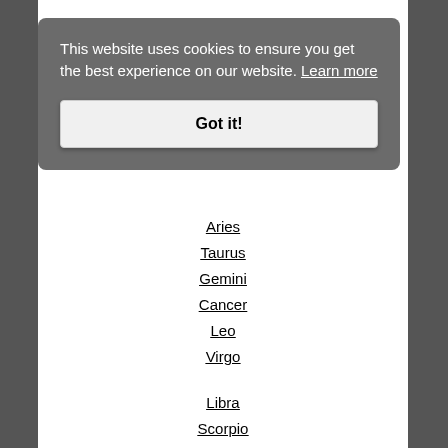This website uses cookies to ensure you get the best experience on our website. Learn more
Got it!
Aries
Taurus
Gemini
Cancer
Leo
Virgo
Libra
Scorpio
Sagittarius
Capricorn